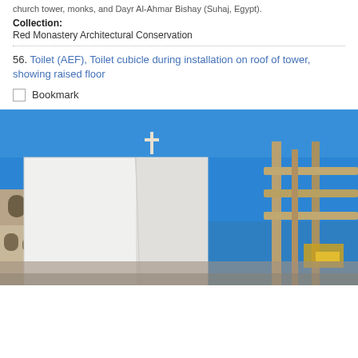church tower, monks, and Dayr Al-Ahmar Bishay (Suhaj, Egypt).
Collection:
Red Monastery Architectural Conservation
56. Toilet (AEF), Toilet cubicle during installation on roof of tower, showing raised floor
Bookmark
[Figure (photo): Photograph of a white toilet cubicle being installed on the roof of a tower. In the background is a church bell tower with a dome topped by a cross, set against a clear blue sky. Wooden scaffolding is visible on the right side of the image.]